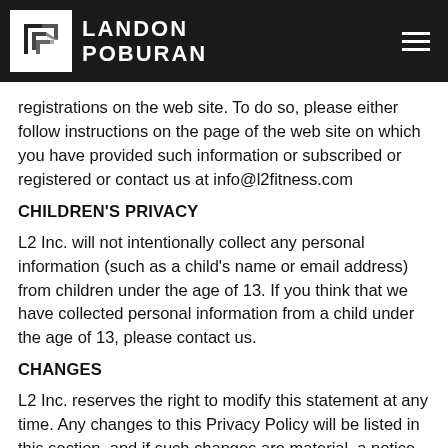LANDON POBURAN
registrations on the web site. To do so, please either follow instructions on the page of the web site on which you have provided such information or subscribed or registered or contact us at info@l2fitness.com
CHILDREN'S PRIVACY
L2 Inc. will not intentionally collect any personal information (such as a child's name or email address) from children under the age of 13. If you think that we have collected personal information from a child under the age of 13, please contact us.
CHANGES
L2 Inc. reserves the right to modify this statement at any time. Any changes to this Privacy Policy will be listed in this section, and if such changes are material, a notice will be